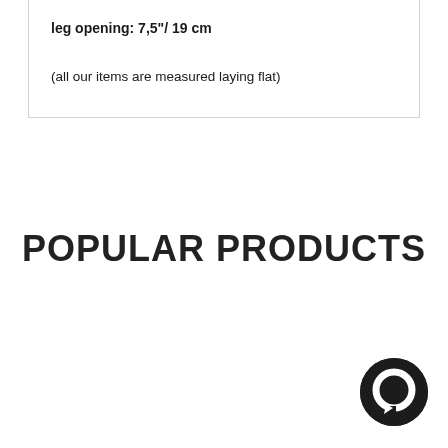leg opening: 7,5"/ 19 cm
(all our items are measured laying flat)
POPULAR PRODUCTS
[Figure (other): Chat button icon — dark circular chat bubble icon in lower right corner]